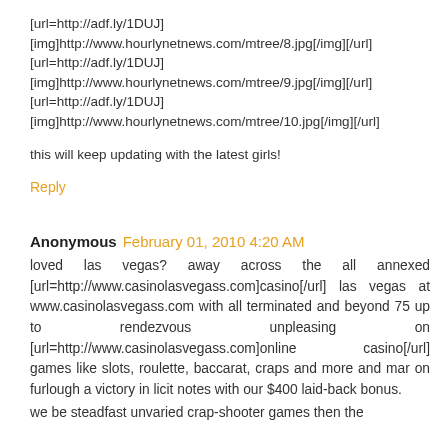[url=http://adf.ly/1DUJ]
[img]http://www.hourlynetnews.com/mtree/8.jpg[/img][/url]
[url=http://adf.ly/1DUJ]
[img]http://www.hourlynetnews.com/mtree/9.jpg[/img][/url]
[url=http://adf.ly/1DUJ]
[img]http://www.hourlynetnews.com/mtree/10.jpg[/img][/url]
this will keep updating with the latest girls!
Reply
Anonymous  February 01, 2010 4:20 AM
loved las vegas? away across the all annexed [url=http://www.casinolasvegass.com]casino[/url] las vegas at www.casinolasvegass.com with all terminated and beyond 75 up to rendezvous unpleasing on [url=http://www.casinolasvegass.com]online casino[/url] games like slots, roulette, baccarat, craps and more and mar on furlough a victory in licit notes with our $400 laid-back bonus.
we be steadfast unvaried crap-shooter games then the